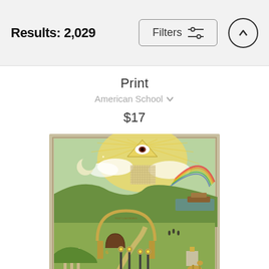Results: 2,029
Filters
Print
American School
$17
[Figure (illustration): An antique American Masonic/religious illustration print showing an all-seeing eye at the top radiating light, a rainbow, a crescent moon, a large arched stone structure, lamp posts, gardens, and a body of water in the background.]